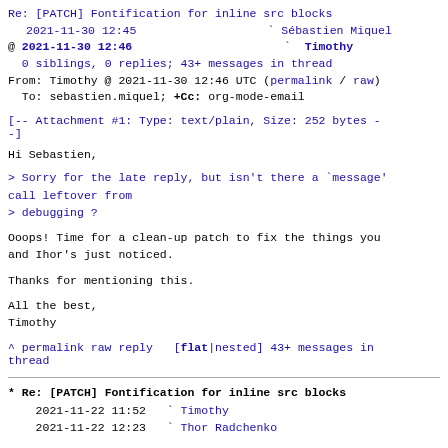Re: [PATCH] Fontification for inline src blocks
2021-11-30 12:45   Sébastien Miquel
@ 2021-11-30 12:46   Timothy
0 siblings, 0 replies; 43+ messages in thread
From: Timothy @ 2021-11-30 12:46 UTC (permalink / raw)
To: sebastien.miquel; +Cc: org-mode-email
[-- Attachment #1: Type: text/plain, Size: 252 bytes --]
Hi Sebastien,
> Sorry for the late reply, but isn't there a `message' call leftover from
> debugging ?
Ooops! Time for a clean-up patch to fix the things you and Ihor's just noticed.
Thanks for mentioning this.
All the best,
Timothy
^ permalink raw reply   [flat|nested] 43+ messages in thread
* Re: [PATCH] Fontification for inline src blocks
  2021-11-22 11:52   Timothy
  2021-11-22 12:23   Thor Radchenko